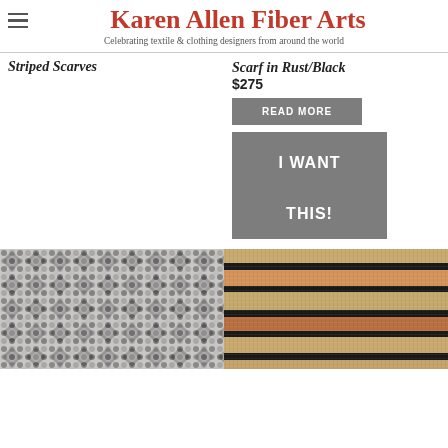Karen Allen Fiber Arts
Celebrating textile & clothing designers from around the world
Striped Scarves
Scarf in Rust/Black
$275
READ MORE
I WANT THIS!
[Figure (photo): Close-up of a woven black and white textile with a geometric diamond/chevron pattern]
[Figure (photo): Close-up of a striped woven textile in rust, tan/gold, and black horizontal stripes]